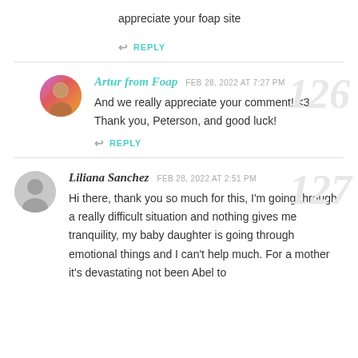appreciate your foap site
↩ REPLY
Artur from Foap  FEB 28, 2022 AT 7:27 PM
And we really appreciate your comment! <3 Thank you, Peterson, and good luck!
↩ REPLY
Liliana Sanchez  FEB 28, 2022 AT 2:51 PM
Hi there, thank you so much for this, I'm going through a really difficult situation and nothing gives me tranquility, my baby daughter is going through emotional things and I can't help much. For a mother it's devastating not been Abel to